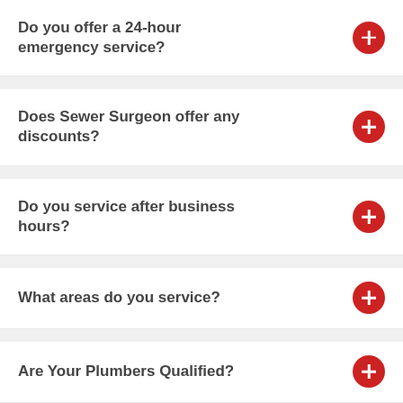Do you offer a 24-hour emergency service?
Does Sewer Surgeon offer any discounts?
Do you service after business hours?
What areas do you service?
Are Your Plumbers Qualified?